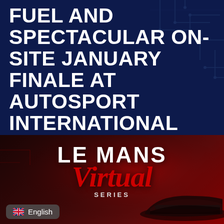FUEL AND SPECTACULAR ON-SITE JANUARY FINALE AT AUTOSPORT INTERNATIONAL
POSTED ON 1 SEPTEMBER 2021
[Figure (illustration): Le Mans Virtual Series logo and racing car silhouette on dark red background. Text reads 'LE MANS VIRTUAL SERIES' with stylized lettering.]